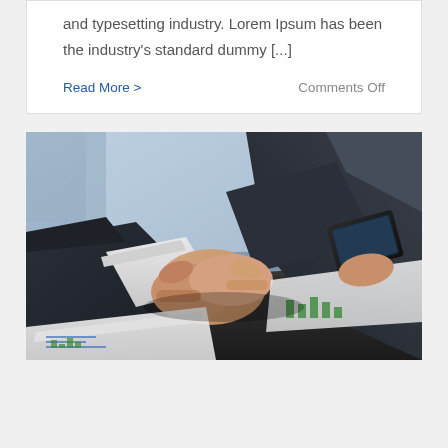and typesetting industry. Lorem Ipsum has been the industry's standard dummy [...]
Read More >     Comments Off
[Figure (photo): Two businesspeople in suits shaking hands over a desk with documents and charts, one person holding a smartphone/tablet device]